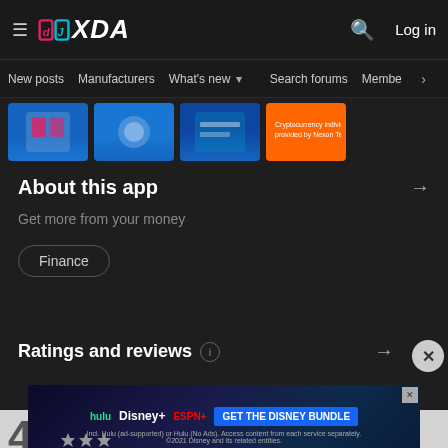XDA — Navigation bar with hamburger menu, XDA logo, search icon, Log in
New posts  Manufacturers  What's new  Search forums  Membe  >
[Figure (screenshot): App screenshot thumbnails showing finance app screens on blue backgrounds]
About this app →
Get more from your money
Finance
Ratings and reviews ⓘ →
[Figure (advertisement): Disney Bundle advertisement — hulu Disney+ ESPN+ GET THE DISNEY BUNDLE. Incl. Hulu (ad-supported) or Hulu (No Ads). Access content from each service separately. ©2021 Disney and its related entities.]